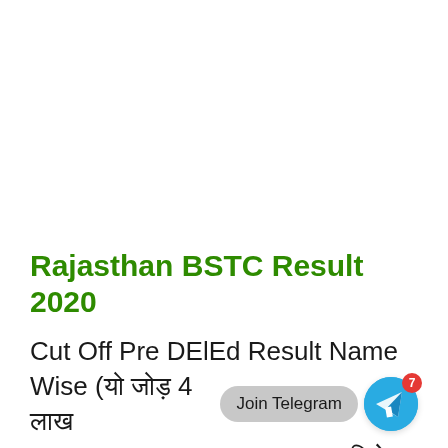Rajasthan BSTC Result 2020
Cut Off Pre DElEd Result Name Wise (यो जोड़ 4 लाख Sarkarilatestresult.com पर जुड़िये )